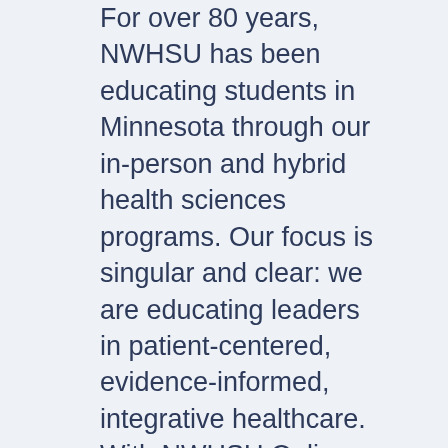For over 80 years, NWHSU has been educating students in Minnesota through our in-person and hybrid health sciences programs. Our focus is singular and clear: we are educating leaders in patient-centered, evidence-informed, integrative healthcare. With NWHSU Online, you can be part of that mission from anywhere, on a flexible schedule.
NWHSU is relearning